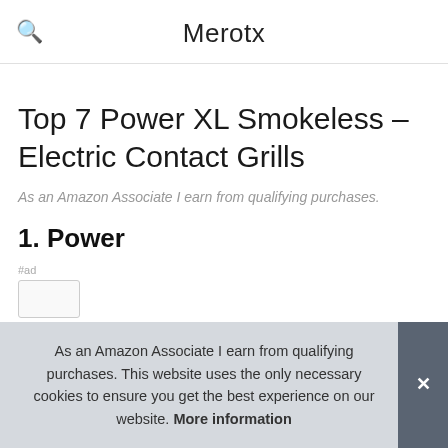Merotx
Top 7 Power XL Smokeless – Electric Contact Grills
As an Amazon Associate I earn from qualifying purchases.
1. Power
#ad
As an Amazon Associate I earn from qualifying purchases. This website uses the only necessary cookies to ensure you get the best experience on our website. More information